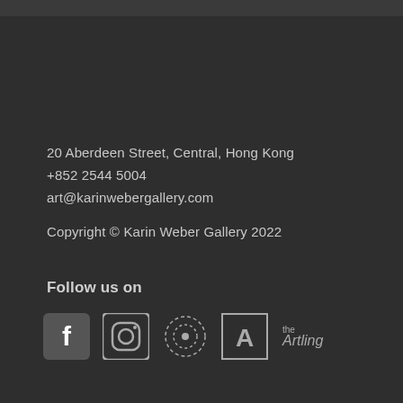20 Aberdeen Street, Central, Hong Kong
+852 2544 5004
art@karinwebergallery.com

Copyright © Karin Weber Gallery 2022
Follow us on
[Figure (logo): Row of social media icons: Facebook, Instagram, a dotted-circle icon, Artsy (A icon), and The Artling logo]